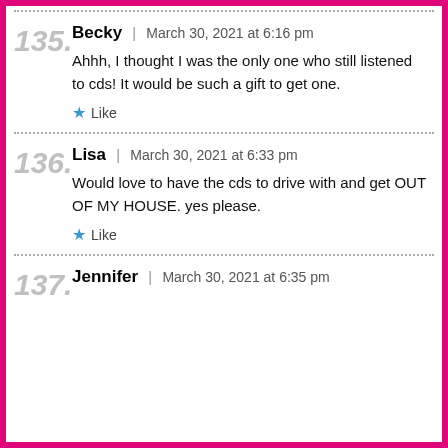135. Becky | March 30, 2021 at 6:16 pm
Ahhh, I thought I was the only one who still listened to cds! It would be such a gift to get one.
★ Like
136. Lisa | March 30, 2021 at 6:33 pm
Would love to have the cds to drive with and get OUT OF MY HOUSE. yes please.
★ Like
137. Jennifer | March 30, 2021 at 6:35 pm